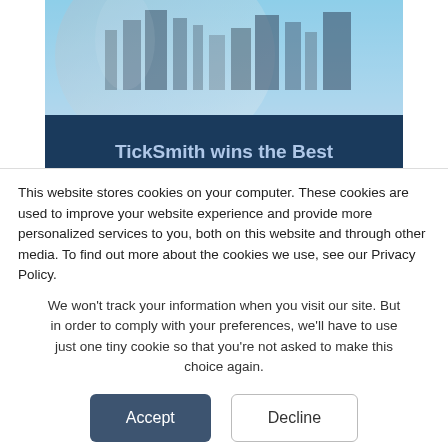[Figure (photo): Hero image showing city skyline reflected in a curved glass surface, with a dark navy blue banner overlay reading 'TickSmith wins the Best Software Solution for FRTB' in light blue bold text]
TickSmith wins the Best Software Solution for FRTB
This website stores cookies on your computer. These cookies are used to improve your website experience and provide more personalized services to you, both on this website and through other media. To find out more about the cookies we use, see our Privacy Policy.
We won't track your information when you visit our site. But in order to comply with your preferences, we'll have to use just one tiny cookie so that you're not asked to make this choice again.